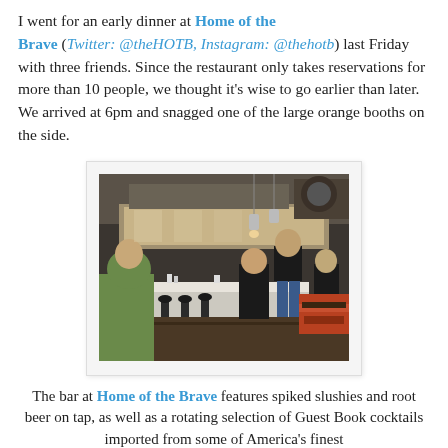I went for an early dinner at Home of the Brave (Twitter: @theHOTB, Instagram: @thehotb) last Friday with three friends. Since the restaurant only takes reservations for more than 10 people, we thought it's wise to go earlier than later. We arrived at 6pm and snagged one of the large orange booths on the side.
[Figure (photo): Interior photo of Home of the Brave restaurant showing an open kitchen with chefs behind a white counter, bar stools, orange booth seating on the right, hanging pendant lights, and industrial ceiling fixtures.]
The bar at Home of the Brave features spiked slushies and root beer on tap, as well as a rotating selection of Guest Book cocktails imported from some of America's finest